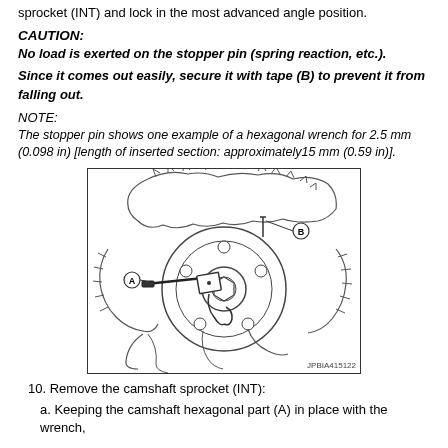sprocket (INT) and lock in the most advanced angle position.
CAUTION:
No load is exerted on the stopper pin (spring reaction, etc.).
Since it comes out easily, secure it with tape (B) to prevent it from falling out.
NOTE:
The stopper pin shows one example of a hexagonal wrench for 2.5 mm (0.098 in) [length of inserted section: approximately15 mm (0.59 in)].
[Figure (engineering-diagram): Engineering diagram showing camshaft sprocket assembly with stopper pin (A) inserted using a hexagonal wrench and tape (B) securing it. Label JPBIA415122 at bottom right.]
10. Remove the camshaft sprocket (INT):
a. Keeping the camshaft hexagonal part (A) in place with the wrench,